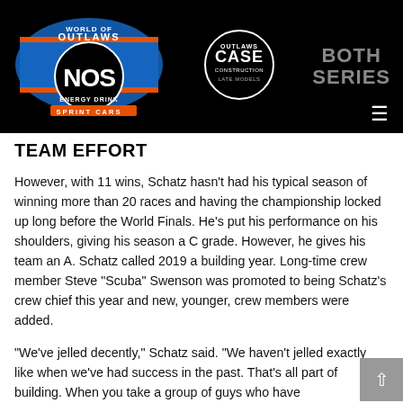[Figure (logo): World of Outlaws NOS Energy Drink Sprint Cars logo — blue and orange on black background]
[Figure (logo): World of Outlaws CASE Construction Late Models circular logo on black background]
BOTH SERIES
TEAM EFFORT
However, with 11 wins, Schatz hasn't had his typical season of winning more than 20 races and having the championship locked up long before the World Finals. He's put his performance on his shoulders, giving his season a C grade. However, he gives his team an A. Schatz called 2019 a building year. Long-time crew member Steve “Scuba” Swenson was promoted to being Schatz's crew chief this year and new, younger, crew members were added.
“We’ve jelled decently,” Schatz said. “We haven’t jelled exactly like when we’ve had success in the past. That’s all part of building. When you take a group of guys who have